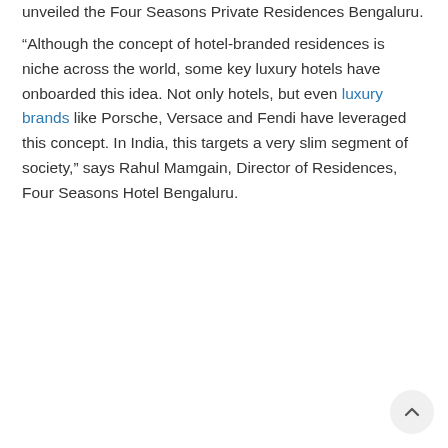unveiled the Four Seasons Private Residences Bengaluru.
“Although the concept of hotel-branded residences is niche across the world, some key luxury hotels have onboarded this idea. Not only hotels, but even luxury brands like Porsche, Versace and Fendi have leveraged this concept. In India, this targets a very slim segment of society,” says Rahul Mamgain, Director of Residences, Four Seasons Hotel Bengaluru.